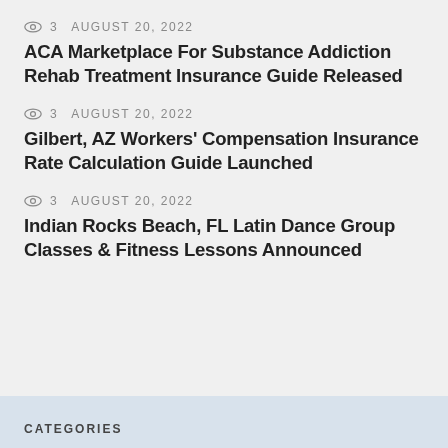👁 3   AUGUST 20, 2022
ACA Marketplace For Substance Addiction Rehab Treatment Insurance Guide Released
👁 3   AUGUST 20, 2022
Gilbert, AZ Workers' Compensation Insurance Rate Calculation Guide Launched
👁 3   AUGUST 20, 2022
Indian Rocks Beach, FL Latin Dance Group Classes & Fitness Lessons Announced
CATEGORIES